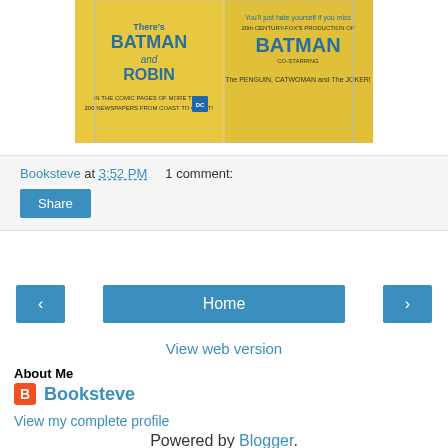[Figure (photo): Batman and Robin vintage comic/movie poster image with yellow background showing Batman and Robin text and DC logo]
Booksteve at 3:52 PM   1 comment:
Share
‹  Home  ›
View web version
About Me
Booksteve
View my complete profile
Powered by Blogger.